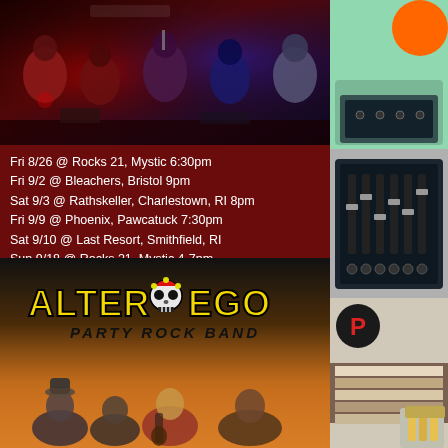[Figure (photo): Band performance photo collage showing multiple musicians playing on stage with red and purple stage lighting]
Fri 8/26 @ Rocks 21, Mystic 6:30pm
Fri 9/2 @ Bleachers, Bristol 9pm
Sat 9/3 @ Rathskeller, Charlestown, RI 8pm
Fri 9/9 @ Phoenix, Pawcatuck 7:30pm
Sat 9/10 @ Last Resort, Smithfield, RI
Sun 9/18 @ Rocks 21, Mystic 4-7pm
Sat 9/24 @ Chicago Sam's, Cromwell
Fri 9/30 @ Rooftop, Glastonbury 8:30pm
[Figure (photo): Alter Ego Party Rock Band promotional image with yellow/black logo text, skull graphic between ALTER and EGO words, and band members photo below on orange/warm background]
[Figure (photo): Right column: top image with green background and orange circle; middle image with audio mixing board; bottom image with P badge logo, stack of records and food/fries]